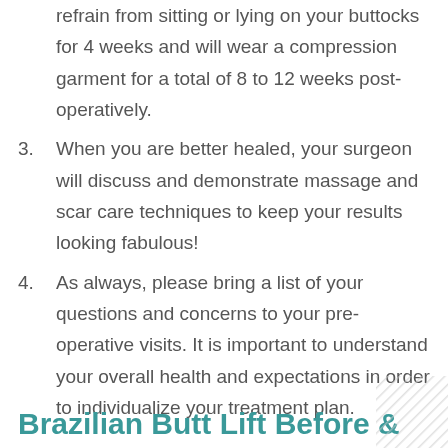refrain from sitting or lying on your buttocks for 4 weeks and will wear a compression garment for a total of 8 to 12 weeks post-operatively.
3. When you are better healed, your surgeon will discuss and demonstrate massage and scar care techniques to keep your results looking fabulous!
4. As always, please bring a list of your questions and concerns to your pre-operative visits. It is important to understand your overall health and expectations in order to individualize your treatment plan.
Brazilian Butt Lift Before &